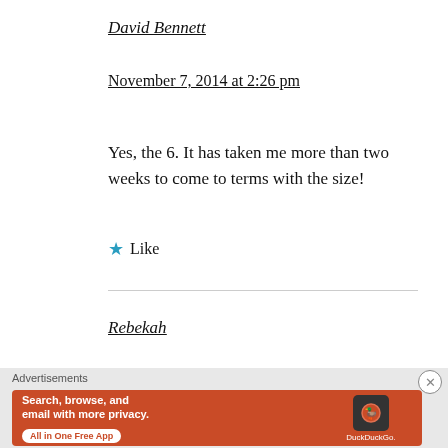David Bennett
November 7, 2014 at 2:26 pm
Yes, the 6. It has taken me more than two weeks to come to terms with the size!
★ Like
Rebekah
[Figure (screenshot): DuckDuckGo advertisement banner with orange background. Text reads 'Search, browse, and email with more privacy. All in One Free App' with DuckDuckGo logo and phone graphic.]